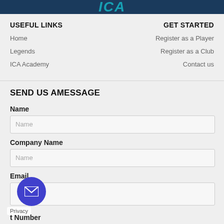[Figure (logo): ICA logo in teal/blue italic bold text on dark background (partially visible at top)]
USEFUL LINKS
GET STARTED
Home
Register as a Player
Legends
Register as a Club
ICA Academy
Contact us
SEND US AMESSAGE
Name
Company Name
Email
t Number
Privacy